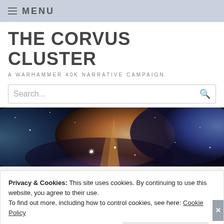MENU
THE CORVUS CLUSTER
A WARHAMMER 40K NARRATIVE CAMPAIGN
Search...
[Figure (photo): Wide nebula / space imagery banner showing colorful cosmic gas clouds and stars in blues, oranges, and purples]
BATTLE REPORT (NARRATIVE)
Privacy & Cookies: This site uses cookies. By continuing to use this website, you agree to their use.
To find out more, including how to control cookies, see here: Cookie Policy
Close and accept